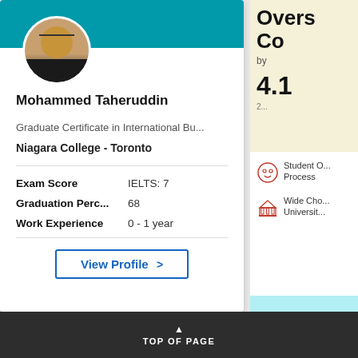[Figure (photo): User profile card with avatar, teal banner, and profile information for Mohammed Taheruddin]
Mohammed Taheruddin
Graduate Certificate in International Bu...
Niagara College - Toronto
Exam Score: IELTS: 7
Graduation Perc...: 68
Work Experience: 0 - 1 year
View Profile >
Overs... Co... by 4.1 (2...)
Student O... Process
Wide Cho... Universit...
Req...
TOP OF PAGE